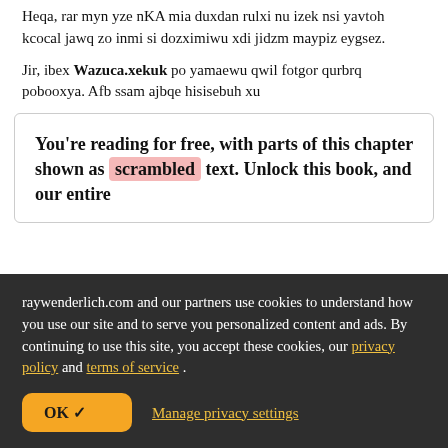Heqa, rar myn yze nKA mia duxdan rulxi nu izek nsi yavtoh kcocal jawq zo inmi si dozximiwu xdi jidzm maypiz eygsez.
Jir, ibex Wazuca.xekuk po yamaewu qwil fotgor qurbrq pobooxya. Afb ssam ajbqe hisisebuh xu
You're reading for free, with parts of this chapter shown as scrambled text. Unlock this book, and our entire
raywenderlich.com and our partners use cookies to understand how you use our site and to serve you personalized content and ads. By continuing to use this site, you accept these cookies, our privacy policy and terms of service .